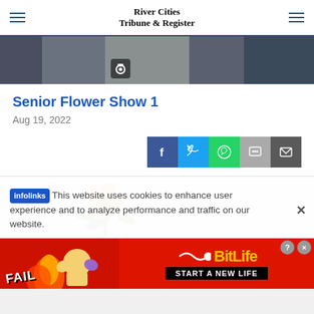River Cities Tribune & Register
[Figure (photo): Partial photo strip showing people in dark clothing at top of page]
Senior Flower Show 1
Aug 19, 2022
[Figure (infographic): Social share buttons: Facebook, Twitter, WhatsApp, SMS, Email]
[Figure (photo): Partial photo of flower arrangement with orange flower and green leaves on light background]
This website uses cookies to enhance user experience and to analyze performance and traffic on our website.
[Figure (infographic): BitLife advertisement banner: FAIL, START A NEW LIFE]